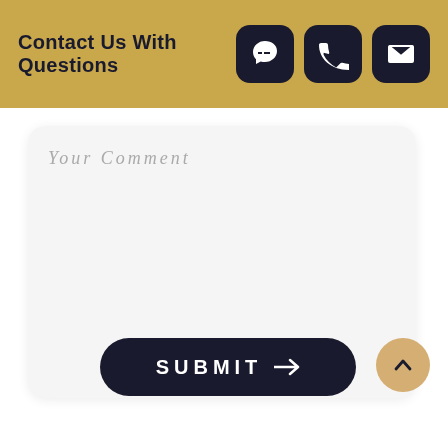Contact Us With Questions
[Figure (infographic): Three icon buttons on dark navy rounded squares: speech bubble, phone handset, and envelope/mail icons]
Your Comment
[Figure (infographic): SUBMIT button with arrow and scroll-to-top circular button]